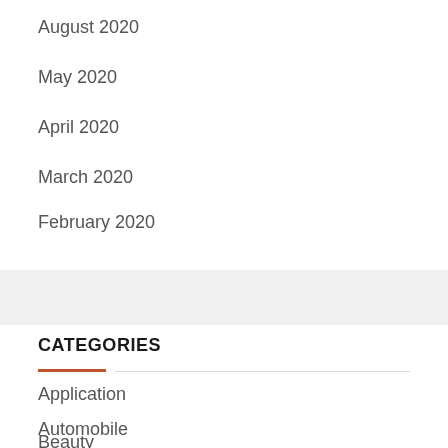August 2020
May 2020
April 2020
March 2020
February 2020
January 2020
CATEGORIES
Application
Automobile
Beauty